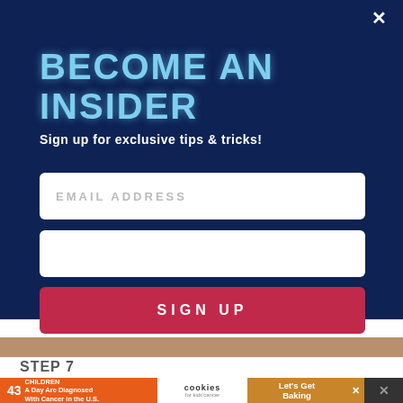BECOME AN INSIDER
Sign up for exclusive tips & tricks!
EMAIL ADDRESS
SIGN UP
STEP 7
[Figure (screenshot): Advertisement banner: '43 CHILDREN A Day Are Diagnosed With Cancer in the U.S.' with cookies for kids' cancer logo and 'Let's Get Baking' promotion]